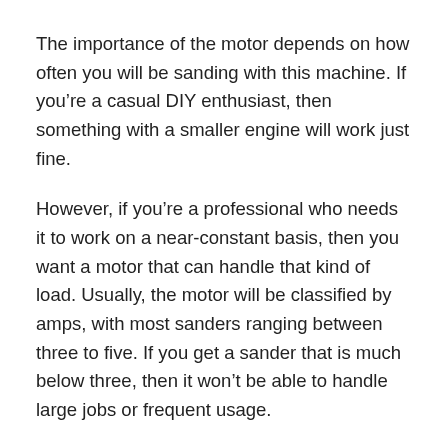The importance of the motor depends on how often you will be sanding with this machine. If you're a casual DIY enthusiast, then something with a smaller engine will work just fine.
However, if you're a professional who needs it to work on a near-constant basis, then you want a motor that can handle that kind of load. Usually, the motor will be classified by amps, with most sanders ranging between three to five. If you get a sander that is much below three, then it won't be able to handle large jobs or frequent usage.
Speed